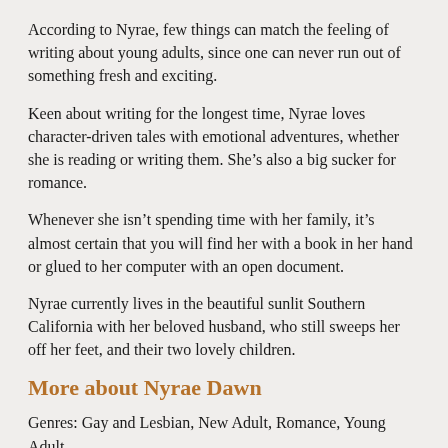According to Nyrae, few things can match the feeling of writing about young adults, since one can never run out of something fresh and exciting.
Keen about writing for the longest time, Nyrae loves character-driven tales with emotional adventures, whether she is reading or writing them. She’s also a big sucker for romance.
Whenever she isn’t spending time with her family, it’s almost certain that you will find her with a book in her hand or glued to her computer with an open document.
Nyrae currently lives in the beautiful sunlit Southern California with her beloved husband, who still sweeps her off her feet, and their two lovely children.
More about Nyrae Dawn
Genres: Gay and Lesbian, New Adult, Romance, Young Adult
United States